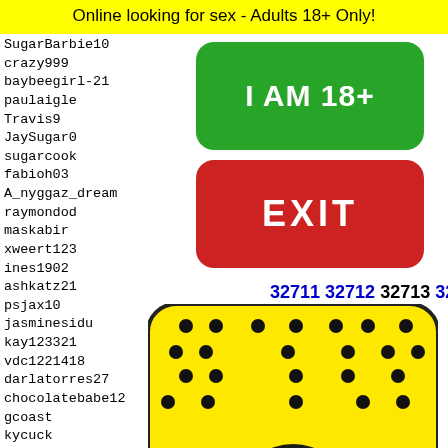Online looking for sex - Adults 18+ Only!
SugarBarbie10
crazy999
baybeegirl-21
paulaigle
Travis9
JaySugar0
sugarcook
fabioh03
A_nyggaz_dream
raymondod
maskabir
xweert123
ines1902
ashkatz21
psjax10
jasminesidu
kay123321
vdc1221418
darlatorres27
chocolatebabe12
gcoast
kycuck
mariya
clevel
therig
deidud
[Figure (other): Green button with text I AM 18+]
[Figure (other): Red button with text EXIT]
32711 32712 32713 32714 32715
[Figure (illustration): Snapchat ghost logo on yellow background with a person's hair visible at bottom]